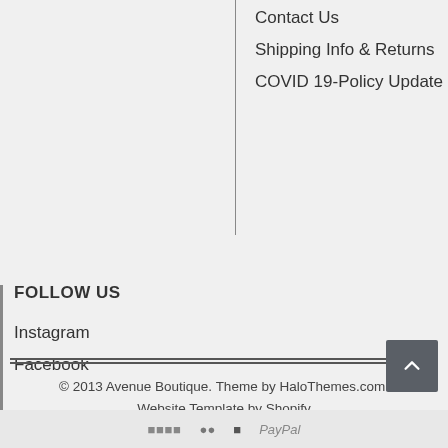Contact Us
Shipping Info & Returns
COVID 19-Policy Update
FOLLOW US
Instagram
Facebook
© 2013 Avenue Boutique. Theme by HaloThemes.com. Website Template by Shopify